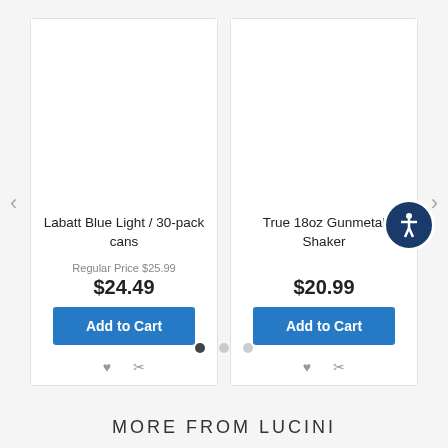Labatt Blue Light / 30-pack cans
Regular Price $25.99
$24.49
Add to Cart
True 18oz Gunmetal Shaker
$20.99
Add to Cart
MORE FROM LUCINI